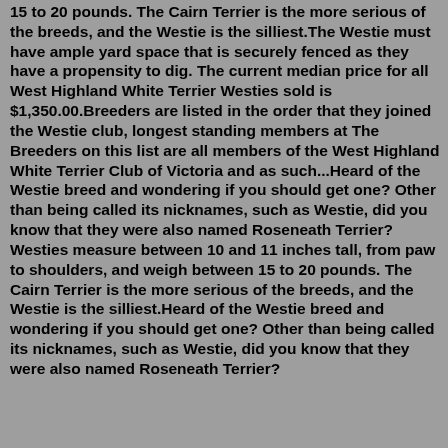15 to 20 pounds. The Cairn Terrier is the more serious of the breeds, and the Westie is the silliest.The Westie must have ample yard space that is securely fenced as they have a propensity to dig. The current median price for all West Highland White Terrier Westies sold is $1,350.00.Breeders are listed in the order that they joined the Westie club, longest standing members at The Breeders on this list are all members of the West Highland White Terrier Club of Victoria and as such...Heard of the Westie breed and wondering if you should get one? Other than being called its nicknames, such as Westie, did you know that they were also named Roseneath Terrier?Westies measure between 10 and 11 inches tall, from paw to shoulders, and weigh between 15 to 20 pounds. The Cairn Terrier is the more serious of the breeds, and the Westie is the silliest.Heard of the Westie breed and wondering if you should get one? Other than being called its nicknames, such as Westie, did you know that they were also named Roseneath Terrier?